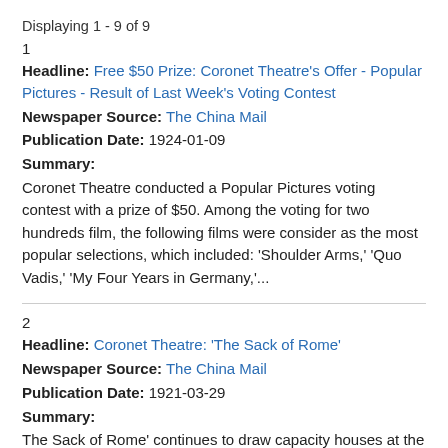Displaying 1 - 9 of 9
1
Headline: Free $50 Prize: Coronet Theatre's Offer - Popular Pictures - Result of Last Week's Voting Contest
Newspaper Source: The China Mail
Publication Date: 1924-01-09
Summary:
Coronet Theatre conducted a Popular Pictures voting contest with a prize of $50. Among the voting for two hundreds film, the following films were consider as the most popular selections, which included: 'Shoulder Arms,' 'Quo Vadis,' 'My Four Years in Germany,'...
2
Headline: Coronet Theatre: 'The Sack of Rome'
Newspaper Source: The China Mail
Publication Date: 1921-03-29
Summary:
The Sack of Rome' continues to draw capacity houses at the Coronet Theatre. The producer previously produced 'Quo Vadis.'